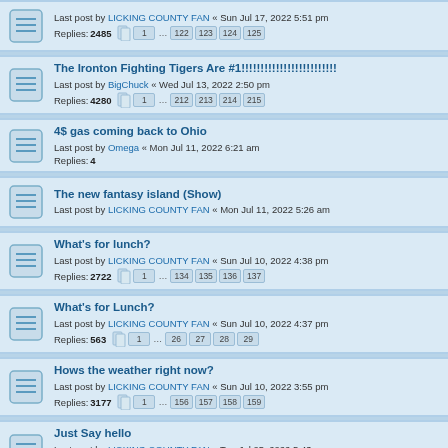Last post by LICKING COUNTY FAN « Sun Jul 17, 2022 5:51 pm
Replies: 2485 | Pages: 1 ... 122 123 124 125
The Ironton Fighting Tigers Are #1!!!!!!!!!!!!!!!!!!!!!!!!!
Last post by BigChuck « Wed Jul 13, 2022 2:50 pm
Replies: 4280 | Pages: 1 ... 212 213 214 215
4$ gas coming back to Ohio
Last post by Omega « Mon Jul 11, 2022 6:21 am
Replies: 4
The new fantasy island (Show)
Last post by LICKING COUNTY FAN « Mon Jul 11, 2022 5:26 am
What's for lunch?
Last post by LICKING COUNTY FAN « Sun Jul 10, 2022 4:38 pm
Replies: 2722 | Pages: 1 ... 134 135 136 137
What's for Lunch?
Last post by LICKING COUNTY FAN « Sun Jul 10, 2022 4:37 pm
Replies: 563 | Pages: 1 ... 26 27 28 29
Hows the weather right now?
Last post by LICKING COUNTY FAN « Sun Jul 10, 2022 3:55 pm
Replies: 3177 | Pages: 1 ... 156 157 158 159
Just Say hello
Last post by LICKING COUNTY FAN « Tue Jul 05, 2022 5:43 am
Replies: 466 | Pages: 1 ... 21 22 23 24
Alright what's for dinner or supper whichever you call it???
Last post by LICKING COUNTY FAN « Thu Jun 30, 2022 9:07 pm